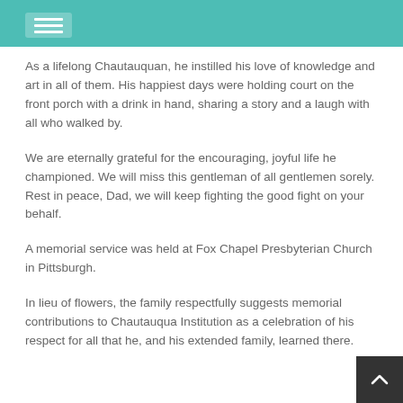As a lifelong Chautauquan, he instilled his love of knowledge and art in all of them. His happiest days were holding court on the front porch with a drink in hand, sharing a story and a laugh with all who walked by.
We are eternally grateful for the encouraging, joyful life he championed. We will miss this gentleman of all gentlemen sorely. Rest in peace, Dad, we will keep fighting the good fight on your behalf.
A memorial service was held at Fox Chapel Presbyterian Church in Pittsburgh.
In lieu of flowers, the family respectfully suggests memorial contributions to Chautauqua Institution as a celebration of his respect for all that he, and his extended family, learned there.